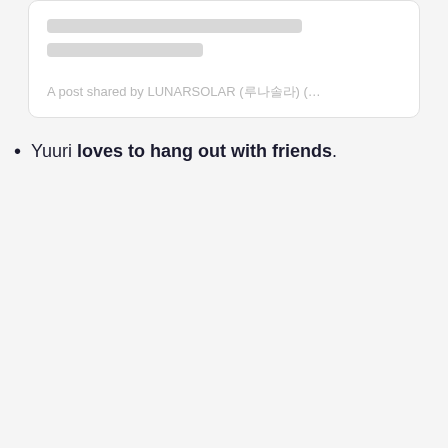[Figure (screenshot): Top social media embed card showing skeleton loading bars and caption text 'A post shared by LUNARSOLAR (루나솔라) (…']
A post shared by LUNARSOLAR (루나솔라) (…
Yuuri loves to hang out with friends.
[Figure (screenshot): Second social media embed card showing a loading skeleton with avatar circle, name and handle placeholder bars, and a yellow highlight bar at the bottom. Has a close (X) button overlay.]